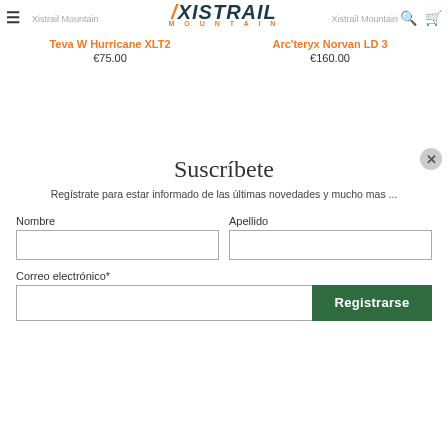Xistrail Mountain — XISTRAIL MOUNTAIN — Xistrail Mountain
Teva W Hurricane XLT2
€75.00
Arc'teryx Norvan LD 3
€160.00
Suscríbete
Regístrate para estar informado de las últimas novedades y mucho mas ...
Nombre
Apellido
Correo electrónico*
Registrarse